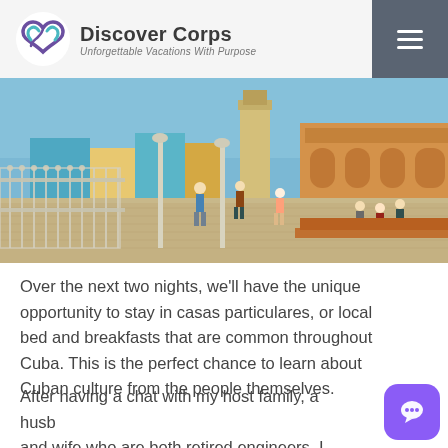Discover Corps — Unforgettable Vacations With Purpose
[Figure (photo): A sunny plaza in Trinidad, Cuba with colourful colonial buildings, ornate white iron fencing, lamp posts, and tourists walking on cobblestones.]
Over the next two nights, we'll have the unique opportunity to stay in casas particulares, or local bed and breakfasts that are common throughout Cuba. This is the perfect chance to learn about Cuban culture from the people themselves.
After having a chat with my host family, a husband and wife who are both retired engineers, I headed to dinner with the group at a beautiful paladar in town